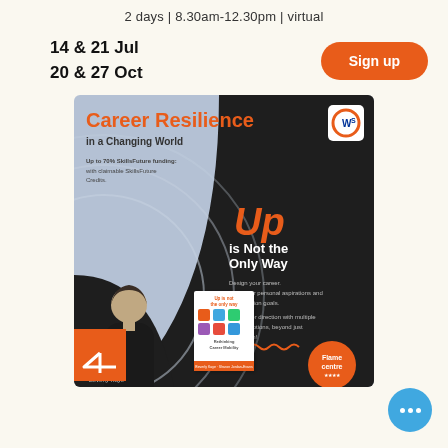2 days | 8.30am-12.30pm | virtual
14 & 21 Jul
20 & 27 Oct
Sign up
[Figure (illustration): Promotional banner for 'Career Resilience in a Changing World' course by Flame Centre. Features blue-grey background with dark arc, text 'Up is Not the Only Way', book cover, presenter Beverly Kaye, and SkillsFuture funding info. WS logo top right.]